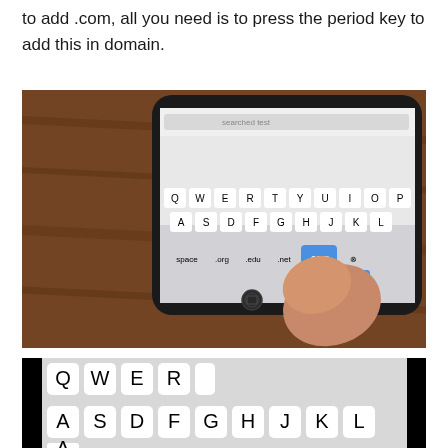to add .com, all you need is to press the period key to add this in domain.
[Figure (photo): A hand pressing the .com key on an iPhone keyboard on a wooden table. The phone screen shows a QWERTY keyboard with domain keys (org, edu, net, com) visible at the bottom row.]
[Figure (photo): Close-up of an iPhone keyboard showing the top rows: Q W E R (top), A S D F G H J K L (middle), partially visible bottom row on a black background.]